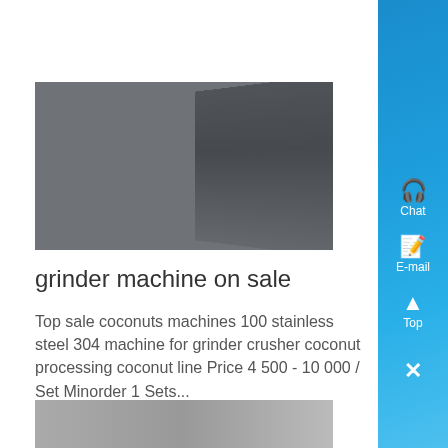[Figure (photo): Industrial grinder machine photographed from above showing a long metal channel/trough on a concrete floor]
grinder machine on sale
Top sale coconuts machines 100 stainless steel 304 machine for grinder crusher coconut processing coconut line Price 4 500 - 10 000 / Set Minorder 1 Sets...
Know More
[Figure (photo): Partial view of another grinder machine product at the bottom of the page]
Chat
E-mail
Top